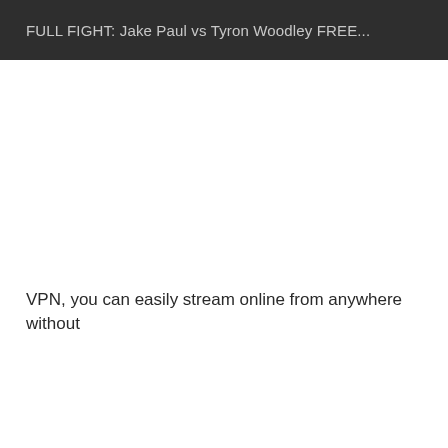FULL FIGHT: Jake Paul vs Tyron Woodley FREE...
VPN, you can easily stream online from anywhere without